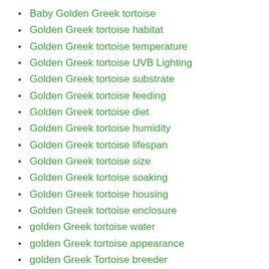Baby Golden Greek tortoise
Golden Greek tortoise habitat
Golden Greek tortoise temperature
Golden Greek tortoise UVB Lighting
Golden Greek tortoise substrate
Golden Greek tortoise feeding
Golden Greek tortoise diet
Golden Greek tortoise humidity
Golden Greek tortoise lifespan
Golden Greek tortoise size
Golden Greek tortoise soaking
Golden Greek tortoise housing
Golden Greek tortoise enclosure
golden Greek tortoise water
golden Greek tortoise appearance
golden Greek Tortoise breeder